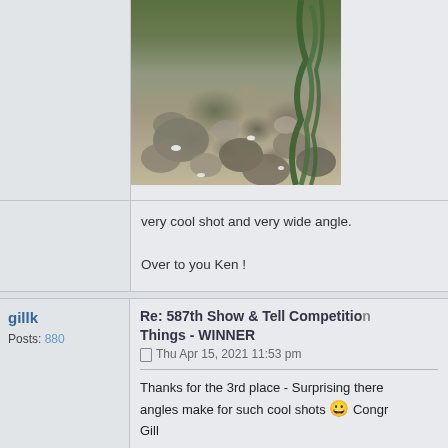[Figure (photo): Photo of seaweed and rocks on a beach, taken from a wide angle]
very cool shot and very wide angle.

Over to you Ken !
gillk
Posts: 880
Re: 587th Show & Tell Competition Things - WINNER
Thu Apr 15, 2021 11:53 pm
Thanks for the 3rd place - Surprising there angles make for such cool shots 😀 Congr Gill
kzaret
Posts: 929
Re: 587th Show & Tell Competition Things - WINNER
Fri Apr 16, 2021 2:07 pm